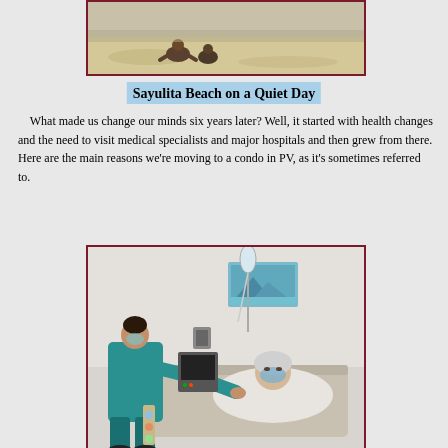[Figure (photo): Photo of Sayulita Beach on a quiet day, showing sandy beach with a person sitting]
Sayulita Beach on a Quiet Day
What made us change our minds six years later? Well, it started with health changes and the need to visit medical specialists and major hospitals and then grew from there. Here are the main reasons we're moving to a condo in PV, as it's sometimes referred to.
[Figure (photo): Photo of a medical/hospital scene showing a nurse in teal scrubs attending to a patient lying in a hospital bed wearing a mask and hair covering, with an IV drip visible]